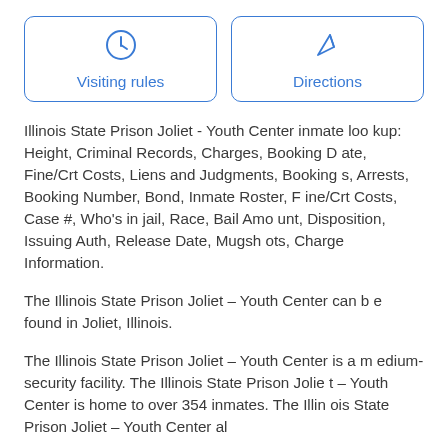[Figure (other): Two button boxes side by side: 'Visiting rules' with a clock icon and 'Directions' with a location/arrow icon, both in blue outline boxes]
Illinois State Prison Joliet - Youth Center inmate lookup: Height, Criminal Records, Charges, Booking Date, Fine/Crt Costs, Liens and Judgments, Bookings, Arrests, Booking Number, Bond, Inmate Roster, Fine/Crt Costs, Case #, Who's in jail, Race, Bail Amount, Disposition, Issuing Auth, Release Date, Mugshots, Charge Information.
The Illinois State Prison Joliet – Youth Center can be found in Joliet, Illinois.
The Illinois State Prison Joliet – Youth Center is a medium-security facility. The Illinois State Prison Joliet – Youth Center is home to over 354 inmates. The Illinois State Prison Joliet – Youth Center al...